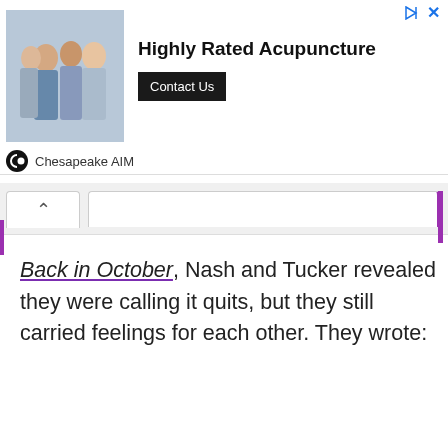[Figure (photo): Advertisement banner for Chesapeake AIM acupuncture showing a group of people with arms around each other, with the text 'Highly Rated Acupuncture' and a 'Contact Us' button]
Back in October, Nash and Tucker revealed they were calling it quits, but they still carried feelings for each other. They wrote: